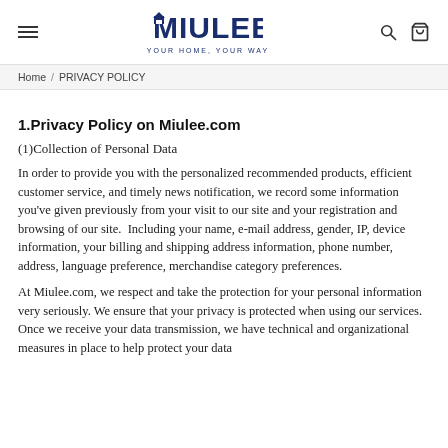MIULEE — YOUR HOME, YOUR WAY
Home / PRIVACY POLICY
1.Privacy Policy on Miulee.com
(1)Collection of Personal Data
In order to provide you with the personalized recommended products, efficient customer service, and timely news notification, we record some information you've given previously from your visit to our site and your registration and browsing of our site.  Including your name, e-mail address, gender, IP, device information, your billing and shipping address information, phone number, address, language preference, merchandise category preferences.
At Miulee.com, we respect and take the protection for your personal information very seriously. We ensure that your privacy is protected when using our services. Once we receive your data transmission, we have technical and organizational measures in place to help protect your data